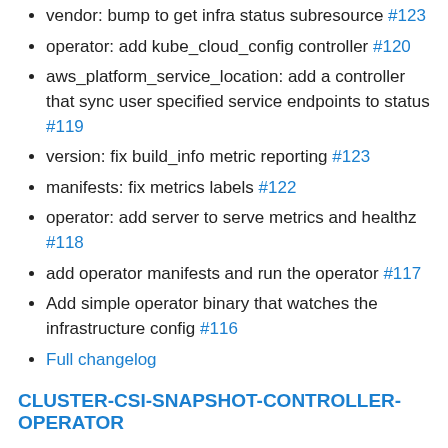vendor: bump to get infra status subresource #123
operator: add kube_cloud_config controller #120
aws_platform_service_location: add a controller that sync user specified service endpoints to status #119
version: fix build_info metric reporting #123
manifests: fix metrics labels #122
operator: add server to serve metrics and healthz #118
add operator manifests and run the operator #117
Add simple operator binary that watches the infrastructure config #116
Full changelog
CLUSTER-CSI-SNAPSHOT-CONTROLLER-OPERATOR
Bug 1881359: Run the controller on master nodes #52
Bug 1880309: Bump k8s.io/client-go to v0.18.6 to fix bug in reflector not recovering from “Too large